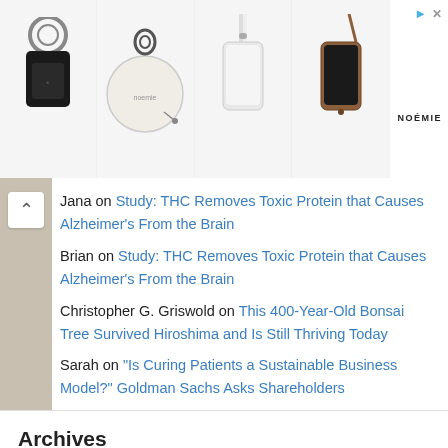[Figure (photo): Advertisement banner showing 4 leather accessory products (keychain, round coin purse, phone case with strap, phone case crossbody) from NOÉMIE brand]
Jana on Study: THC Removes Toxic Protein that Causes Alzheimer's From the Brain
Brian on Study: THC Removes Toxic Protein that Causes Alzheimer's From the Brain
Christopher G. Griswold on This 400-Year-Old Bonsai Tree Survived Hiroshima and Is Still Thriving Today
Sarah on "Is Curing Patients a Sustainable Business Model?" Goldman Sachs Asks Shareholders
Archives
August 2022
July 2022
June 2022
May 2022